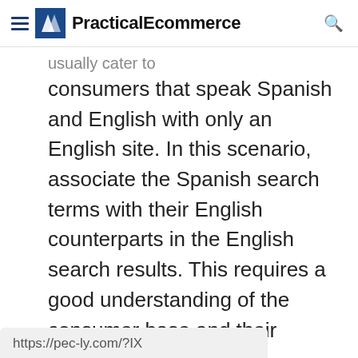PracticalEcommerce
usually cater to consumers that speak Spanish and English with only an English site. In this scenario, associate the Spanish search terms with their English counterparts in the English search results. This requires a good understanding of the consumer base and their search behavior.
https://pec-ly.com/?IX